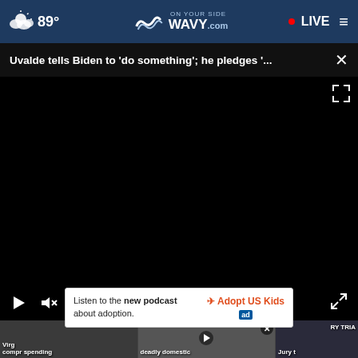89° WAVY.com ON YOUR SIDE — LIVE
Uvalde tells Biden to 'do something'; he pledges '...
[Figure (screenshot): Black video player area with play, mute, and fullscreen controls at bottom]
[Figure (screenshot): Three thumbnail images in a row at the bottom: Virginia, deadly domestic, Jury trial]
Listen to the new podcast about adoption.